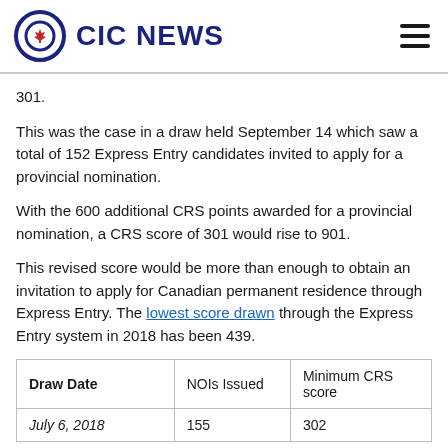CIC NEWS
301.
This was the case in a draw held September 14 which saw a total of 152 Express Entry candidates invited to apply for a provincial nomination.
With the 600 additional CRS points awarded for a provincial nomination, a CRS score of 301 would rise to 901.
This revised score would be more than enough to obtain an invitation to apply for Canadian permanent residence through Express Entry. The lowest score drawn through the Express Entry system in 2018 has been 439.
| Draw Date | NOIs Issued | Minimum CRS score |
| --- | --- | --- |
| July 6, 2018 | 155 | 302 |